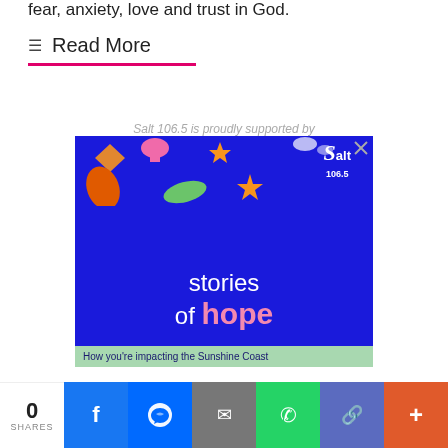fear, anxiety, love and trust in God.
≡  Read More
Salt 106.5 is proudly supported by
[Figure (illustration): Salt 106.5 radio station advertisement banner with dark blue background, colorful decorative icons (leaves, stars, mushrooms), Salt 106.5 logo in top right, large white text 'stories of hope' with 'hope' in pink, and a green bar at bottom reading 'How you're impacting the Sunshine Coast']
How you're impacting the Sunshine Coast
0 SHARES — Facebook, Messenger, Email, WhatsApp, Link, More share buttons